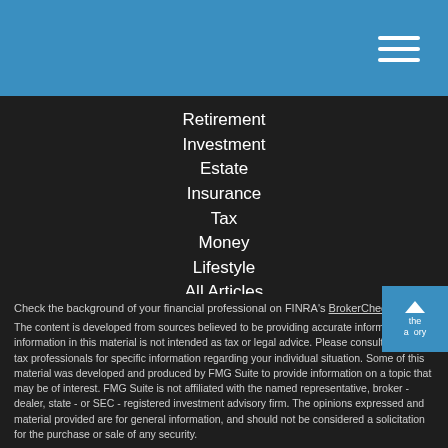Navigation menu header bar with hamburger icon
Retirement
Investment
Estate
Insurance
Tax
Money
Lifestyle
All Articles
All Videos
All Calculators
All Presentations
Check the background of your financial professional on FINRA's BrokerCheck.
The content is developed from sources believed to be providing accurate information. The information in this material is not intended as tax or legal advice. Please consult legal or tax professionals for specific information regarding your individual situation. Some of this material was developed and produced by FMG Suite to provide information on a topic that may be of interest. FMG Suite is not affiliated with the named representative, broker - dealer, state - or SEC - registered investment advisory firm. The opinions expressed and material provided are for general information, and should not be considered a solicitation for the purchase or sale of any security.